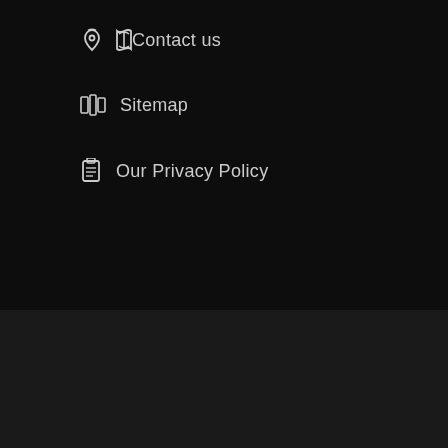Contact us
Sitemap
Our Privacy Policy
INSTAGRAM
Copyright Fly Sussex, 2022
info@flysussex.com
01273 858170
Tollgate, Beddingham. Near Lewes
BACK TO TOP